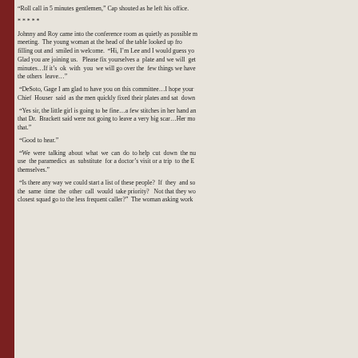“Roll call in 5 minutes gentlemen,” Cap shouted as he left his office.
*****
Johnny and Roy came into the conference room as quietly as possible meeting. The young woman at the head of the table looked up from filling out and smiled in welcome. “Hi, I’m Lee and I would guess you Glad you are joining us. Please fix yourselves a plate and we will get minutes…If it’s ok with you we will go over the few things we have the others leave…”
“DeSoto, Gage I am glad to have you on this committee…I hope your Chief Houser said as the men quickly fixed their plates and sat down
“Yes sir, the little girl is going to be fine…a few stitches in her hand and that Dr. Brackett said were not going to leave a very big scar…Her mo that.”
“Good to hear.”
“We were talking about what we can do to help cut down the number use the paramedics as substitute for a doctor’s visit or a trip to the ER themselves.”
“Is there any way we could start a list of these people? If they and so the same time the other call would take priority? Not that they would closest squad go to the less frequent caller?” The woman asking work